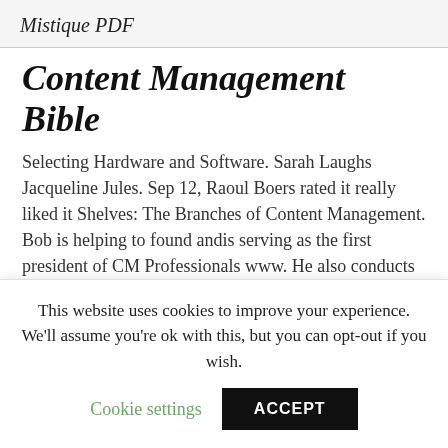Mistique PDF
Content Management Bible
Selecting Hardware and Software. Sarah Laughs Jacqueline Jules. Sep 12, Raoul Boers rated it really liked it Shelves: The Branches of Content Management. Bob is helping to found andis serving as the first president of CM Professionals www. He also conducts seminars and lectures around the world as part of his business. The title is accurate: Axente rated it really liked it Dec
This website uses cookies to improve your experience. We'll assume you're ok with this, but you can opt-out if you wish.
Cookie settings   ACCEPT